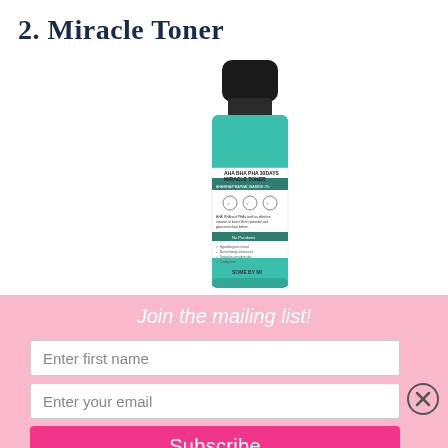2. Miracle Toner
[Figure (photo): Product photo of SOME BY MI AHA BHA PHA 30 Days Miracle Toner bottle — slim cylindrical bottle with black cap, teal/green lower body, white label with green accent band]
Join the mailing list!
Enter first name
Enter your email
Subscribe